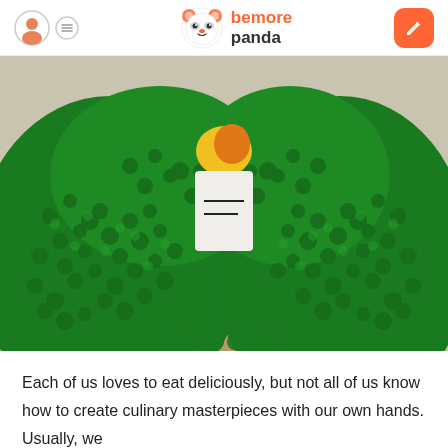bemorepanda
[Figure (photo): A cake decorated with dense green star-tip frosting forming a circular wreath pattern on a beige surface, with white frosting visible in the center and a partial orange/yellow cartoon character peeking from the top.]
Each of us loves to eat deliciously, but not all of us know how to create culinary masterpieces with our own hands. Usually, we